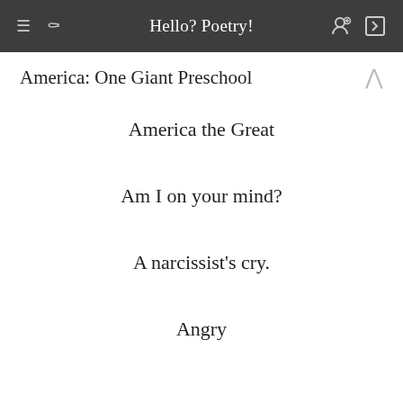Hello? Poetry!
America: One Giant Preschool
America the Great
Am I on your mind?
A narcissist's cry.
Angry